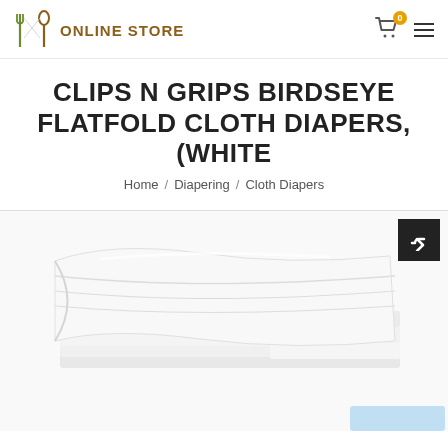[Figure (logo): Online Store logo with fork and spoon icon and brown text ONLINE STORE]
CLIPS N GRIPS BIRDSEYE FLATFOLD CLOTH DIAPERS, (WHITE
Home / Diapering / Cloth Diapers
[Figure (photo): White folded cloth diapers stacked, shown on white background. A black share button is in the top right corner of the image area.]